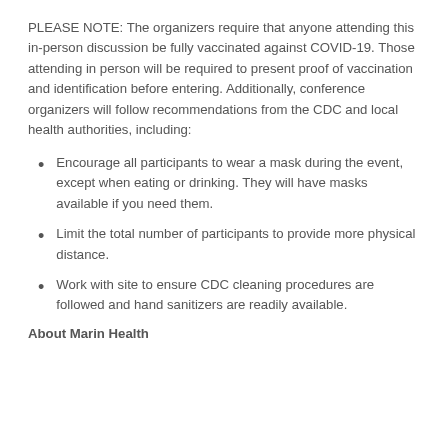PLEASE NOTE: The organizers require that anyone attending this in-person discussion be fully vaccinated against COVID-19. Those attending in person will be required to present proof of vaccination and identification before entering. Additionally, conference organizers will follow recommendations from the CDC and local health authorities, including:
Encourage all participants to wear a mask during the event, except when eating or drinking. They will have masks available if you need them.
Limit the total number of participants to provide more physical distance.
Work with site to ensure CDC cleaning procedures are followed and hand sanitizers are readily available.
About Marin Health